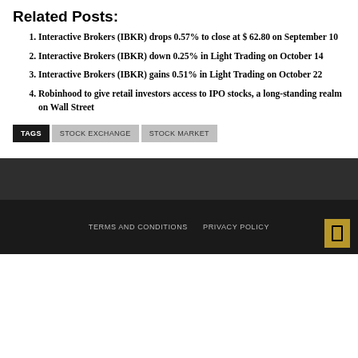Related Posts:
Interactive Brokers (IBKR) drops 0.57% to close at $ 62.80 on September 10
Interactive Brokers (IBKR) down 0.25% in Light Trading on October 14
Interactive Brokers (IBKR) gains 0.51% in Light Trading on October 22
Robinhood to give retail investors access to IPO stocks, a long-standing realm on Wall Street
TAGS  STOCK EXCHANGE  STOCK MARKET
TERMS AND CONDITIONS   PRIVACY POLICY